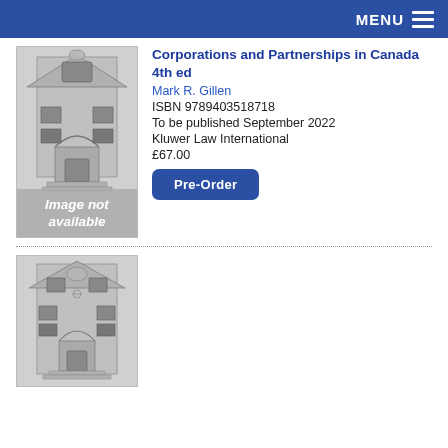MENU
[Figure (illustration): Book cover placeholder showing a classical building facade illustration with 'Image not available' text overlay]
Corporations and Partnerships in Canada 4th ed
Mark R. Gillen
ISBN 9789403518718
To be published September 2022
Kluwer Law International
£67.00
Pre-Order
[Figure (illustration): Second book cover placeholder showing a classical building facade illustration]